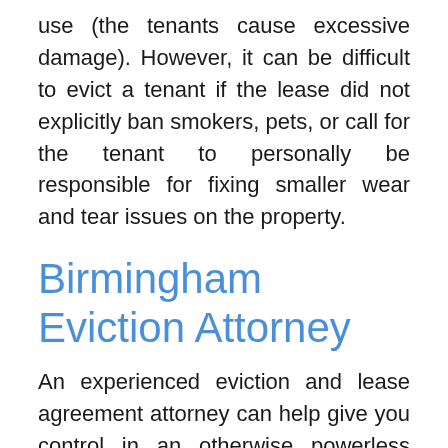use (the tenants cause excessive damage). However, it can be difficult to evict a tenant if the lease did not explicitly ban smokers, pets, or call for the tenant to personally be responsible for fixing smaller wear and tear issues on the property.
Birmingham Eviction Attorney
An experienced eviction and lease agreement attorney can help give you control in an otherwise powerless situation. Contact the law offices of